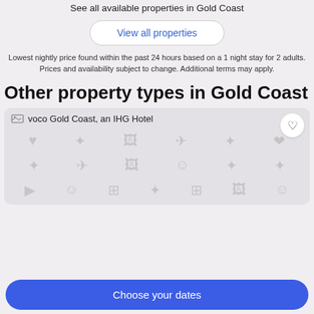See all available properties in Gold Coast
View all properties
Lowest nightly price found within the past 24 hours based on a 1 night stay for 2 adults. Prices and availability subject to change. Additional terms may apply.
Other property types in Gold Coast
[Figure (photo): Hotel property card for voco Gold Coast, an IHG Hotel showing broken image placeholder with decorative icons in a grid pattern and a heart/favorite button]
Choose your dates